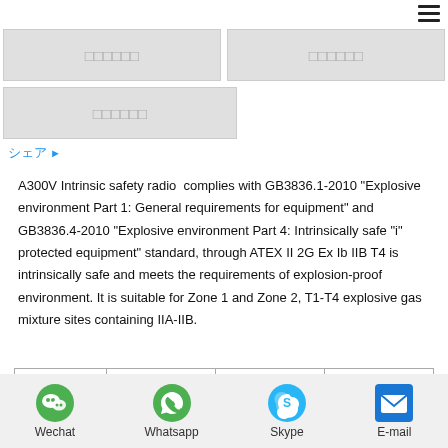[Figure (screenshot): Navigation bar with hamburger menu icon]
[Figure (screenshot): Two gray navigation button placeholders with Japanese placeholder text (squares)]
[Figure (screenshot): One gray navigation button placeholder with Japanese placeholder text (squares)]
シェア ▶
A300V Intrinsic safety radio  complies with GB3836.1-2010 "Explosive environment Part 1: General requirements for equipment" and GB3836.4-2010 "Explosive environment Part 4: Intrinsically safe "i" protected equipment" standard, through ATEX II 2G Ex Ib IIB T4 is intrinsically safe and meets the requirements of explosion-proof environment. It is suitable for Zone 1 and Zone 2, T1-T4 explosive gas mixture sites containing IIA-IIB.
|  | IIA | IIB | IIC |
| --- | --- | --- | --- |
Wechat  Whatsapp  Skype  E-mail